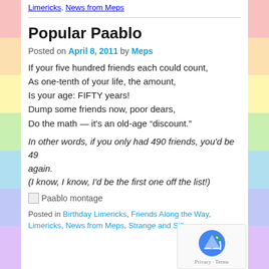Limericks, News from Meps
Popular Paablo
Posted on April 8, 2011 by Meps
If your five hundred friends each could count,
As one-tenth of your life, the amount,
Is your age: FIFTY years!
Dump some friends now, poor dears,
Do the math — it's an old-age “discount.”
In other words, if you only had 490 friends, you'd be 49 again.
(I know, I know, I'd be the first one off the list!)
[Figure (other): Paablo montage image placeholder]
Posted in Birthday Limericks, Friends Along the Way, Limericks, News from Meps, Strange and Silly